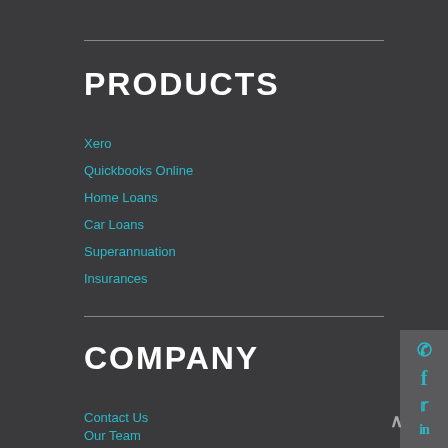PRODUCTS
Xero
Quickbooks Online
Home Loans
Car Loans
Superannuation
Insurances
COMPANY
Contact Us
Our Team
Privacy Policy